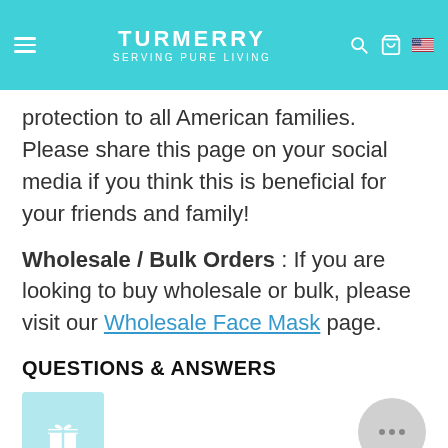TURMERRY SERVING PURE LIVING
protection to all American families. Please share this page on your social media if you think this is beneficial for your friends and family!
Wholesale / Bulk Orders : If you are looking to buy wholesale or bulk, please visit our Wholesale Face Mask page.
QUESTIONS & ANSWERS
[Figure (other): Gift box icon in light teal square]
Have a Question?